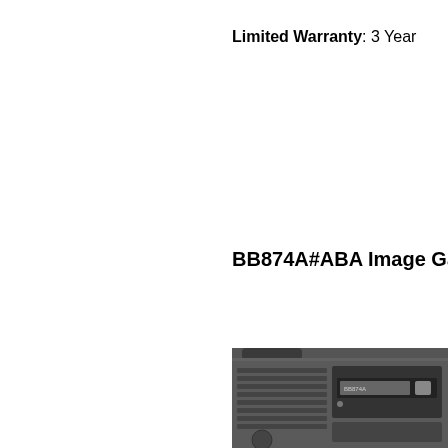Limited Warranty: 3 Year
BB874A#ABA Image Gallery:
[Figure (photo): Partial view of an HP tape drive device, showing the front panel with drive bay and ventilation grilles, in dark grey/black color.]